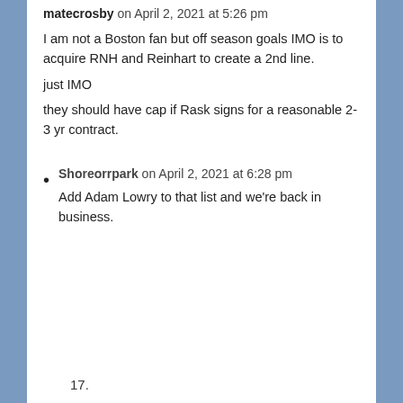matecrosby on April 2, 2021 at 5:26 pm
I am not a Boston fan but off season goals IMO is to acquire RNH and Reinhart to create a 2nd line.
just IMO
they should have cap if Rask signs for a reasonable 2-3 yr contract.
Shoreorrpark on April 2, 2021 at 6:28 pm — Add Adam Lowry to that list and we're back in business.
17.